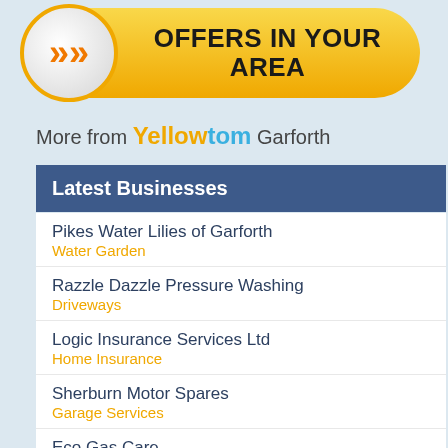[Figure (infographic): Gold pill-shaped banner with orange double chevron in a circular badge on the left, reading OFFERS IN YOUR AREA in bold black text]
More from Yellowtom Garforth
Latest Businesses
Pikes Water Lilies of Garforth
Water Garden
Razzle Dazzle Pressure Washing
Driveways
Logic Insurance Services Ltd
Home Insurance
Sherburn Motor Spares
Garage Services
Eco Gas Care
Tilers